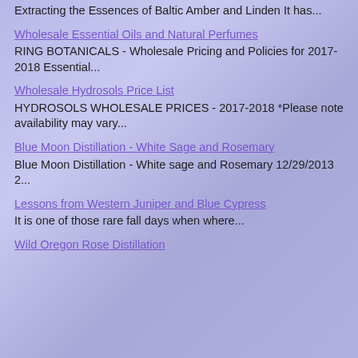Extracting the Essences of Baltic Amber and Linden It has...
Wholesale Essential Oils and Natural Perfumes
RING BOTANICALS - Wholesale Pricing and Policies for 2017-2018 Essential...
Wholesale Hydrosols Price List
HYDROSOLS WHOLESALE PRICES - 2017-2018 *Please note availability may vary...
Blue Moon Distillation - White Sage and Rosemary
Blue Moon Distillation - White sage and Rosemary 12/29/2013 2...
Lessons from Western Juniper and Blue Cypress
It is one of those rare fall days when where...
Wild Oregon Rose Distillation